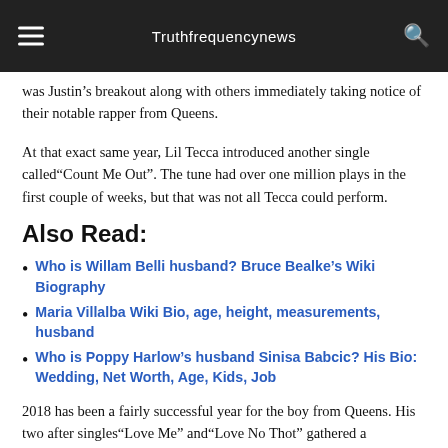Truthfrequencynews
was Justin's breakout along with others immediately taking notice of their notable rapper from Queens.
At that exact same year, Lil Tecca introduced another single called“Count Me Out”. The tune had over one million plays in the first couple of weeks, but that was not all Tecca could perform.
Also Read:
Who is Willam Belli husband? Bruce Bealke’s Wiki Biography
Maria Villalba Wiki Bio, age, height, measurements, husband
Who is Poppy Harlow’s husband Sinisa Babcic? His Bio: Wedding, Net Worth, Age, Kids, Job
2018 has been a fairly successful year for the boy from Queens. His two after singles“Love Me” and“Love No Thot” gathered a